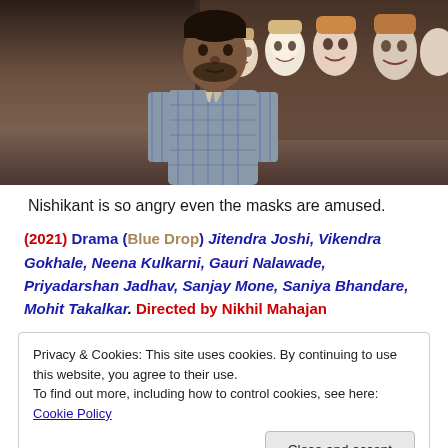[Figure (photo): A man in a plaid shirt stands in front of decorative masks or figurines displayed on a wall/shelf behind him. The masks appear to be ornate with various expressions.]
Nishikant is so angry even the masks are amused.
(2021) Drama (Blue Drop) Jitendra Joshi, Vikendra Gokhale, Neena Kulkarni, Gauri Nalawade, Priyadarshan Jadhav, Sanjay Mone, Saniya Bhandare, Mohit Takalkar. Directed by Nikhil Mahajan
Privacy & Cookies: This site uses cookies. By continuing to use this website, you agree to their use.
To find out more, including how to control cookies, see here: Cookie Policy
[Figure (photo): Partial bottom image showing what appears to be another scene or movie still.]